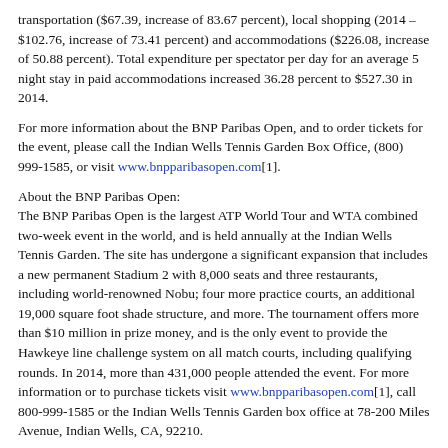transportation ($67.39, increase of 83.67 percent), local shopping (2014 – $102.76, increase of 73.41 percent) and accommodations ($226.08, increase of 50.88 percent). Total expenditure per spectator per day for an average 5 night stay in paid accommodations increased 36.28 percent to $527.30 in 2014.
For more information about the BNP Paribas Open, and to order tickets for the event, please call the Indian Wells Tennis Garden Box Office, (800) 999-1585, or visit www.bnpparibasopen.com[1].
About the BNP Paribas Open:
The BNP Paribas Open is the largest ATP World Tour and WTA combined two-week event in the world, and is held annually at the Indian Wells Tennis Garden. The site has undergone a significant expansion that includes a new permanent Stadium 2 with 8,000 seats and three restaurants, including world-renowned Nobu; four more practice courts, an additional 19,000 square foot shade structure, and more. The tournament offers more than $10 million in prize money, and is the only event to provide the Hawkeye line challenge system on all match courts, including qualifying rounds. In 2014, more than 431,000 people attended the event. For more information or to purchase tickets visit www.bnpparibasopen.com[1], call 800-999-1585 or the Indian Wells Tennis Garden box office at 78-200 Miles Avenue, Indian Wells, CA, 92210.